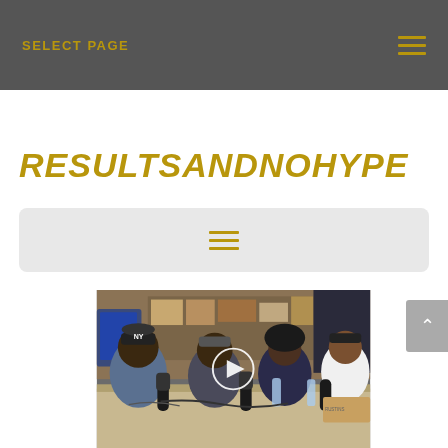SELECT PAGE
RESULTSANDNOHYPE
[Figure (screenshot): Navigation menu bar widget with hamburger icon lines in gold/olive color on light gray rounded rectangle background]
[Figure (photo): Group of four people sitting around a table in what appears to be a radio or podcast studio, with microphones, water bottles, and boxes/merchandise visible in the background. A play button overlay is centered on the image.]